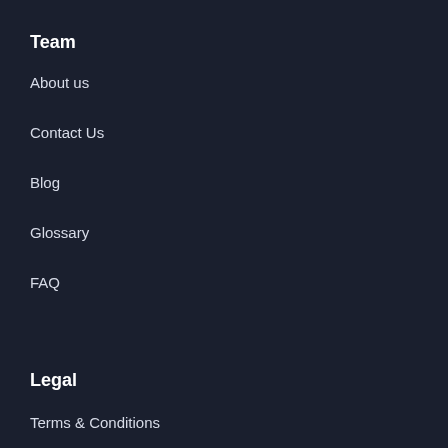Team
About us
Contact Us
Blog
Glossary
FAQ
Legal
Terms & Conditions